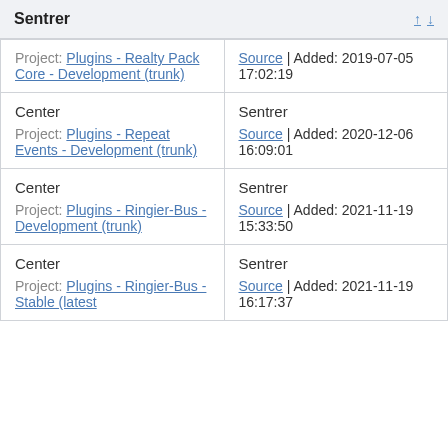Sentrer
| Left | Right |
| --- | --- |
| Project: Plugins - Realty Pack Core - Development (trunk) | Source | Added: 2019-07-05 17:02:19 |
| Center
Project: Plugins - Repeat Events - Development (trunk) | Sentrer
Source | Added: 2020-12-06 16:09:01 |
| Center
Project: Plugins - Ringier-Bus - Development (trunk) | Sentrer
Source | Added: 2021-11-19 15:33:50 |
| Center
Project: Plugins - Ringier-Bus - Stable (latest | Sentrer
Source | Added: 2021-11-19 16:17:37 |